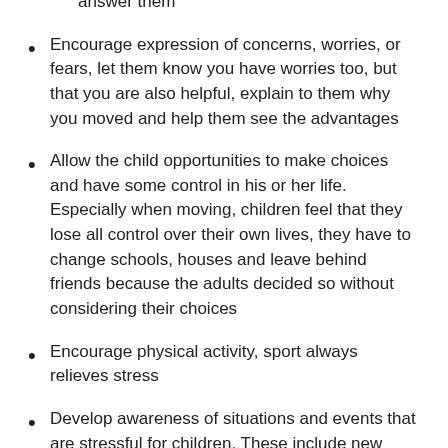answer them
Encourage expression of concerns, worries, or fears, let them know you have worries too, but that you are also helpful, explain to them why you moved and help them see the advantages
Allow the child opportunities to make choices and have some control in his or her life. Especially when moving, children feel that they lose all control over their own lives, they have to change schools, houses and leave behind friends because the adults decided so without considering their choices
Encourage physical activity, sport always relieves stress
Develop awareness of situations and events that are stressful for children. These include new experiences, fear of unpredictable outcomes, unpleasant sensations,